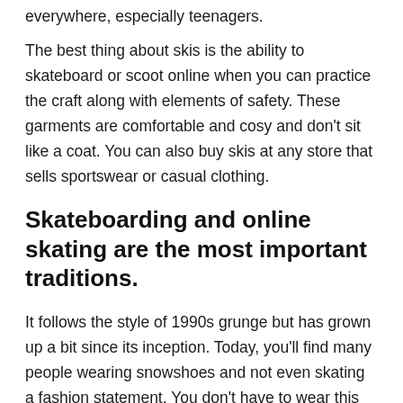everywhere, especially teenagers.
The best thing about skis is the ability to skateboard or scoot online when you can practice the craft along with elements of safety. These garments are comfortable and cosy and don't sit like a coat. You can also buy skis at any store that sells sportswear or casual clothing.
Skateboarding and online skating are the most important traditions.
It follows the style of 1990s grunge but has grown up a bit since its inception. Today, you'll find many people wearing snowshoes and not even skating a fashion statement. You don't have to wear this style to wear Lucky me I see ghosts hoodie your skate hood. This is a very popular fall cover technique. Teenagers love zip hats and often wear them as